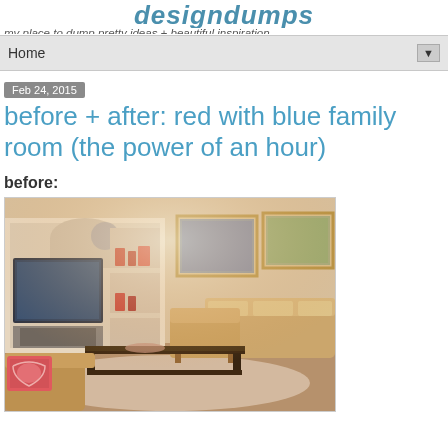design dumps — my place to dump pretty ideas + beautiful inspiration
Home ▼
Feb 24, 2015
before + after: red with blue family room (the power of an hour)
before:
[Figure (photo): A family room 'before' photo showing warm-toned furniture including tan/gold sofas and armchairs, a dark wood coffee table, a fireplace with built-in white shelving unit containing a TV and decorative items, landscape paintings on the wall, and a colorful patterned pillow on the left chair.]